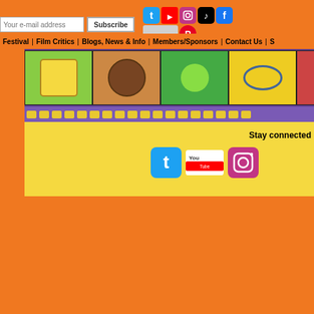Your e-mail address | Subscribe | Social media icons (Twitter, YouTube, Instagram, TikTok, Facebook, Pinterest)
Festival | Film Critics | Blogs, News & Info | Members/Sponsors | Contact Us | S...
[Figure (screenshot): Film strip banner with cartoon movie images including SpongeBob and animated characters]
Stay connected
[Figure (screenshot): Three social media icons: Twitter bird, YouTube logo, Instagram gradient logo]
Film Festivals | Movie Reviews | Submit a T...
© Copyright 1996–2022
Website Design, Development, E-Comme...